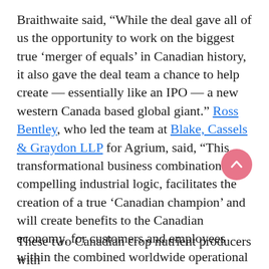Braithwaite said, “While the deal gave all of us the opportunity to work on the biggest true ‘merger of equals’ in Canadian history, it also gave the deal team a chance to help create — essentially like an IPO — a new western Canada based global giant.” Ross Bentley, who led the team at Blake, Cassels & Graydon LLP for Agrium, said, “This transformational business combination has compelling industrial logic, facilitates the creation of a true ‘Canadian champion’ and will create benefits to the Canadian economy, for customers and employees within the combined worldwide operational footprint of Nutrien, and for shareholders as Nutrien achieves its targeted synergies.”
These two Canadian crop nutrient producers with